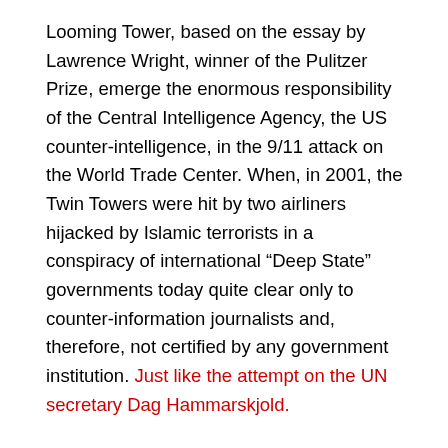Looming Tower, based on the essay by Lawrence Wright, winner of the Pulitzer Prize, emerge the enormous responsibility of the Central Intelligence Agency, the US counter-intelligence, in the 9/11 attack on the World Trade Center. When, in 2001, the Twin Towers were hit by two airliners hijacked by Islamic terrorists in a conspiracy of international “Deep State” governments today quite clear only to counter-information journalists and, therefore, not certified by any government institution. Just like the attempt on the UN secretary Dag Hammarskjold.
In the first episode of the movie, it appears that those words were spoken in 2004 by Ali Soufan, an FBI agent, before the 9/11 Commission of Joint Inquiry. They are faithful to the actual reconstruction of the facts in everything except the name of the head of Alec Station (also called Bin Laden Issue Station) for which the writers used the fictional name